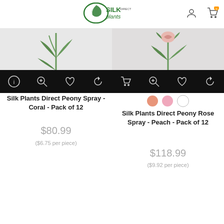Silk Plants Direct — website header with logo, account icon, cart icon
[Figure (photo): Product image of Silk Plants Direct Peony Spray - Coral - Pack of 12, showing silk plant stems on dark background with action icons (info, zoom, wishlist, compare)]
Silk Plants Direct Peony Spray - Coral - Pack of 12
$80.99
($6.75 per piece)
[Figure (photo): Product image of Silk Plants Direct Peony Rose Spray - Peach - Pack of 12, showing silk plant stems with rose buds, color swatches (coral, pink, white), with action icons]
Silk Plants Direct Peony Rose Spray - Peach - Pack of 12
$118.99
($9.92 per piece)